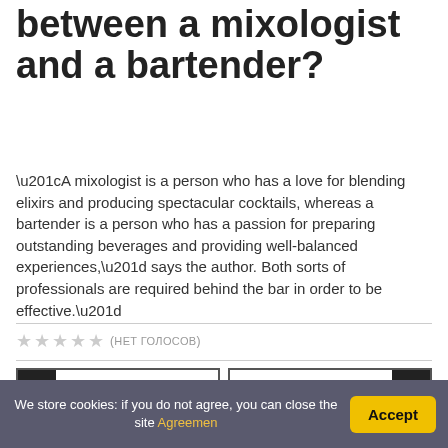What is the difference between a mixologist and a bartender?
“A mixologist is a person who has a love for blending elixirs and producing spectacular cocktails, whereas a bartender is a person who has a passion for preparing outstanding beverages and providing well-balanced experiences,” says the author. Both sorts of professionals are required behind the bar in order to be effective.”
★★★★★ (нет голосов)
Previous article
Next article
We store cookies: if you do not agree, you can close the site Agreemen